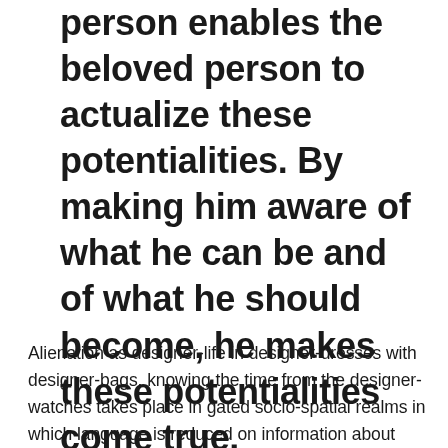person enables the beloved person to actualize these potentialities. By making him aware of what he can be and of what he should become, he makes these potentialities come true.
Alienation as designer-life in designer-dresses with designer-bags, knowing the time from the designer-watches takes place in gated socio-spatial realms in which language is reduced on information about